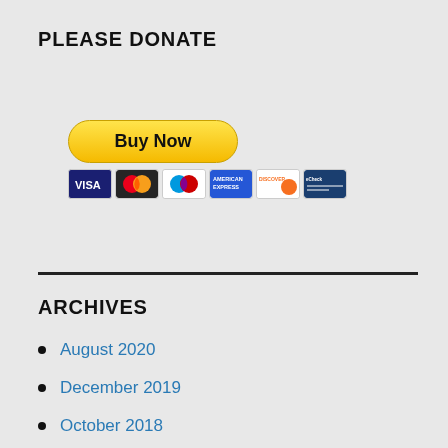PLEASE DONATE
[Figure (other): PayPal Buy Now button with credit card icons below (VISA, Mastercard, Maestro, American Express, Discover, eCheck)]
ARCHIVES
August 2020
December 2019
October 2018
January 2018